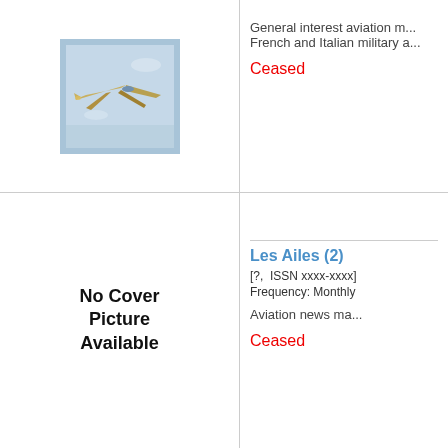[Figure (photo): Magazine cover showing a military fighter jet aircraft in flight against a light blue sky background, framed with a blue border.]
General interest aviation m... French and Italian military a...
Ceased
No Cover Picture Available
Les Ailes (2)
[?,  ISSN xxxx-xxxx]
Frequency: Monthly
Aviation news ma...
Ceased